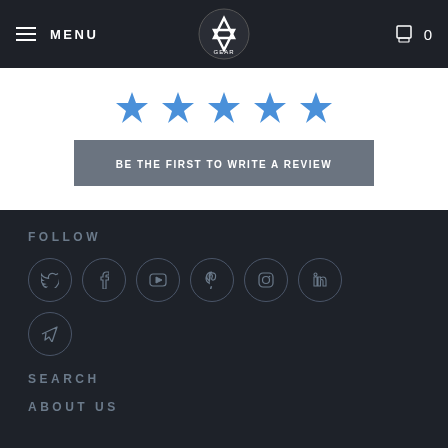MENU | DPX Gear logo | Cart 0
[Figure (illustration): Five blue star rating icons]
BE THE FIRST TO WRITE A REVIEW
FOLLOW
[Figure (illustration): Social media icon circles: Twitter, Facebook, YouTube, Pinterest, Instagram, LinkedIn, Telegram]
SEARCH
ABOUT US